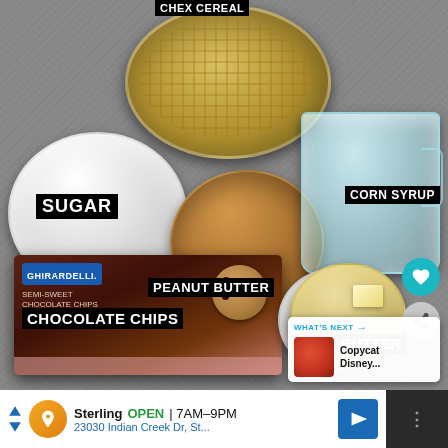[Figure (photo): Overhead photo of ingredients for a Chex mix / chocolate peanut butter bar recipe laid out on a gray granite surface. Ingredients shown include: Chex cereal in a large glass bowl at top, sugar in a large glass bowl at left, peanut butter in a medium glass bowl at center, corn syrup in a glass measuring cup at right, Ghirardelli chocolate chips bag at bottom left, salt in a small glass bowl at bottom center, and butter in a small glass bowl at bottom right. Text labels overlay each ingredient: 'CHEX CEREAL', 'SUGAR', 'PEANUT BUTTER', 'CORN SYRUP', 'CHOCOLATE CHIPS', 'SALT', 'BUTTER'. A 'WHAT'S NEXT' card in the bottom right corner shows a thumbnail for 'Copycat Disney...']
Sterling OPEN 7AM–9PM 23030 Indian Creek Dr, St...